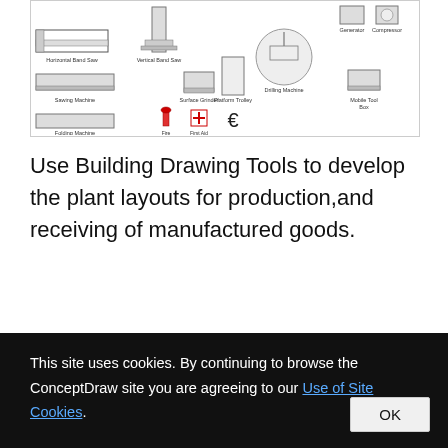[Figure (schematic): Plant layout diagram showing various manufacturing equipment symbols including Horizontal Band Saw, Vertical Band Saw, Sawing Machine, Surface Grinder, Platform Trolley, Drilling Machine, Generator, Compressor, Folding Machine, Fire Extinguisher, First Aid Cabinet, Operator, and Mobile Tool Box.]
Use Building Drawing Tools to develop the plant layouts for production,and receiving of manufactured goods.
Types of Flowcharts
This site uses cookies. By continuing to browse the ConceptDraw site you are agreeing to our Use of Site Cookies.